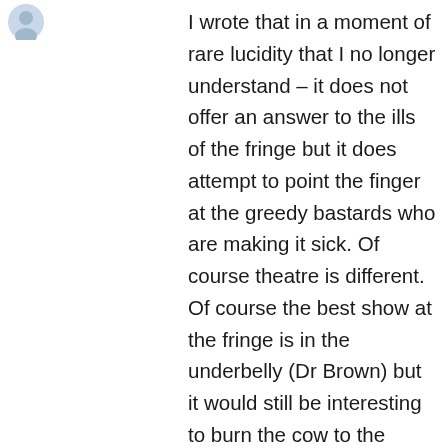[Figure (illustration): Small circular avatar icon of a person, light blue/grey tones]
I wrote that in a moment of rare lucidity that I no longer understand – it does not offer an answer to the ills of the fringe but it does attempt to point the finger at the greedy bastards who are making it sick. Of course theatre is different. Of course the best show at the fringe is in the underbelly (Dr Brown) but it would still be interesting to burn the cow to the ground… long live PHIL KAY – and we have him turning up at the Hive next week. David Mills and Devvo are packed to the rafters with happy people… did I go off point? I had a fosters judge in today and she refused to drink a drop of the sponsors shit lager while I downed pint after pint of foxy blonde from the scottish borders brewery. my cousin is lovely. and the number of bars i am banned from